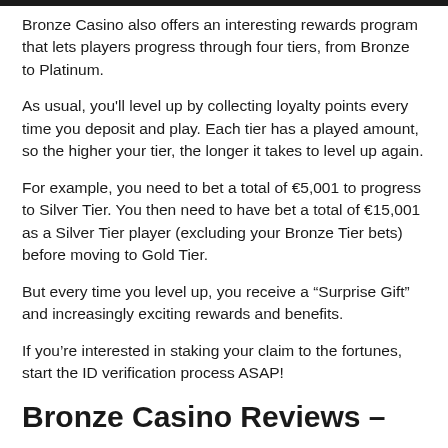Bronze Casino also offers an interesting rewards program that lets players progress through four tiers, from Bronze to Platinum.
As usual, you'll level up by collecting loyalty points every time you deposit and play. Each tier has a played amount, so the higher your tier, the longer it takes to level up again.
For example, you need to bet a total of €5,001 to progress to Silver Tier. You then need to have bet a total of €15,001 as a Silver Tier player (excluding your Bronze Tier bets) before moving to Gold Tier.
But every time you level up, you receive a “Surprise Gift” and increasingly exciting rewards and benefits.
If you’re interested in staking your claim to the fortunes, start the ID verification process ASAP!
Bronze Casino Reviews –